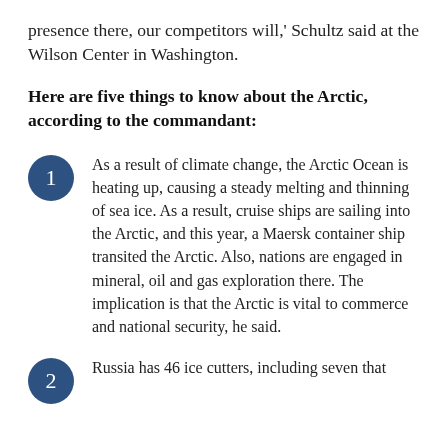presence there, our competitors will,' Schultz said at the Wilson Center in Washington.
Here are five things to know about the Arctic, according to the commandant:
As a result of climate change, the Arctic Ocean is heating up, causing a steady melting and thinning of sea ice. As a result, cruise ships are sailing into the Arctic, and this year, a Maersk container ship transited the Arctic. Also, nations are engaged in mineral, oil and gas exploration there. The implication is that the Arctic is vital to commerce and national security, he said.
Russia has 46 ice cutters, including seven that